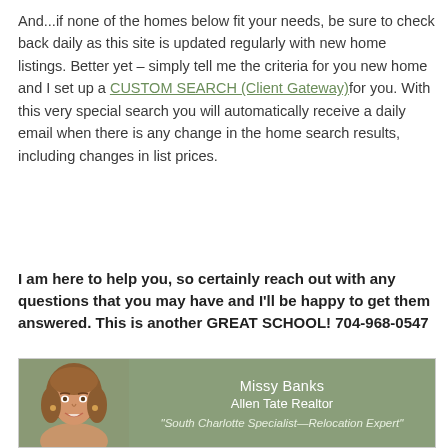And...if none of the homes below fit your needs, be sure to check back daily as this site is updated regularly with new home listings. Better yet – simply tell me the criteria for you new home and I set up a CUSTOM SEARCH (Client Gateway) for you. With this very special search you will automatically receive a daily email when there is any change in the home search results, including changes in list prices.
I am here to help you, so certainly reach out with any questions that you may have and I'll be happy to get them answered. This is another GREAT SCHOOL! 704-968-0547
[Figure (photo): Card with headshot photo of Missy Banks on left, and text on sage green background: Missy Banks, Allen Tate Realtor, 'South Charlotte Specialist—Relocation Expert']